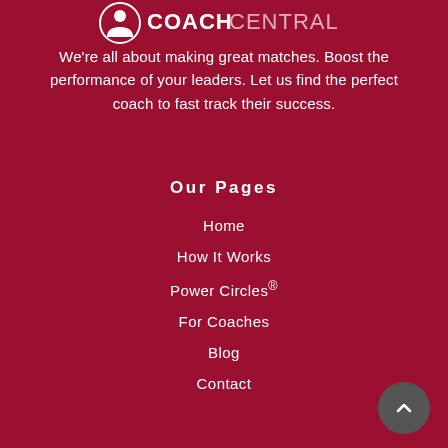[Figure (logo): CoachCentral logo with icon and text on dark red background]
We're all about making great matches. Boost the performance of your leaders. Let us find the perfect coach to fast track their success.
Our Pages
Home
How It Works
Power Circles®
For Coaches
Blog
Contact